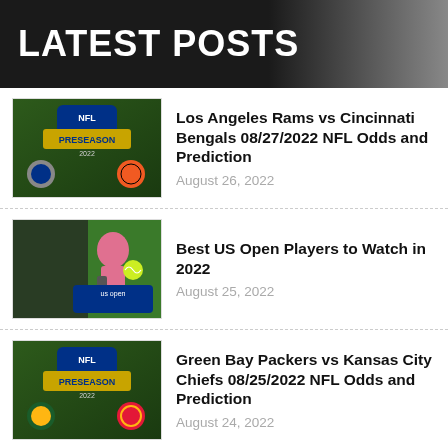LATEST POSTS
Los Angeles Rams vs Cincinnati Bengals 08/27/2022 NFL Odds and Prediction
August 26, 2022
Best US Open Players to Watch in 2022
August 25, 2022
Green Bay Packers vs Kansas City Chiefs 08/25/2022 NFL Odds and Prediction
August 24, 2022
Miami Marlins vs Oakland Athletics 08/22/2022 MLB Odds and Prediction
August 22, 2022